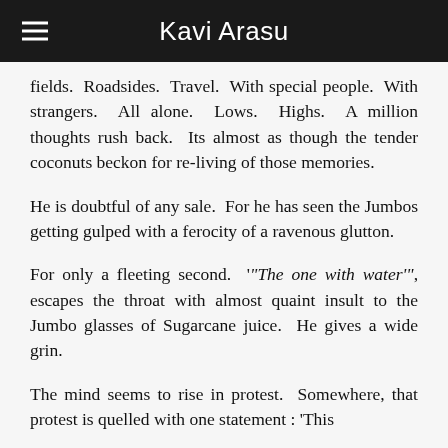Kavi Arasu
fields. Roadsides. Travel. With special people. With strangers. All alone. Lows. Highs. A million thoughts rush back. Its almost as though the tender coconuts beckon for re-living of those memories.
He is doubtful of any sale. For he has seen the Jumbos getting gulped with a ferocity of a ravenous glutton.
For only a fleeting second. '“The one with water'”, escapes the throat with almost quaint insult to the Jumbo glasses of Sugarcane juice. He gives a wide grin.
The mind seems to rise in protest. Somewhere, that protest is quelled with one statement : ‘This